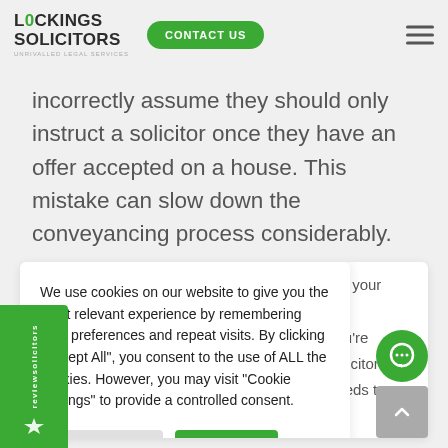Lockings Solicitors — CONTACT US
incorrectly assume they should only instruct a solicitor once they have an offer accepted on a house. This mistake can slow down the conveyancing process considerably.
We use cookies on our website to give you the most relevant experience by remembering your preferences and repeat visits. By clicking "Accept All", you consent to the use of ALL the cookies. However, you may visit "Cookie Settings" to provide a controlled consent.
learn more about the process using our free